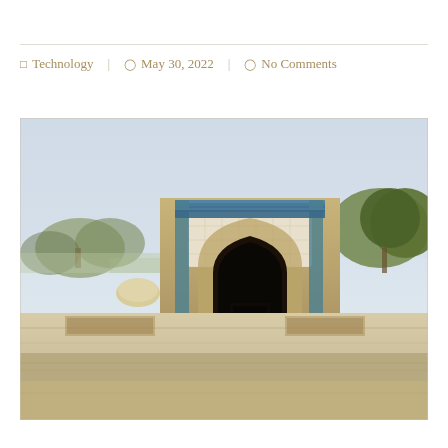Technology  |  May 30, 2022  |  No Comments
[Figure (photo): Exterior photograph of a historic Islamic architectural monument, likely in Central Asia (Uzbekistan/Bukhara region), showing an ornately decorated arched portal (pishtaq) with blue tilework and geometric patterns on a sandy stone structure. The courtyard in front has stone slabs and marble blocks. Trees are visible in the background under a hazy sky.]